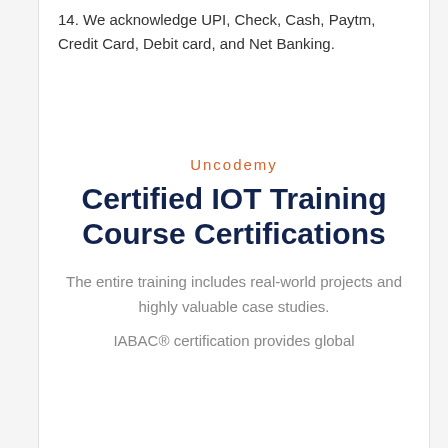14. We acknowledge UPI, Check, Cash, Paytm, Credit Card, Debit card, and Net Banking.
Uncodemy
Certified IOT Training Course Certifications
The entire training includes real-world projects and highly valuable case studies.
IABAC® certification provides global